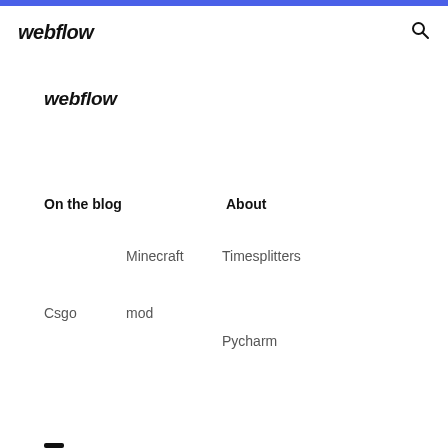webflow
webflow
On the blog
About
Minecraft
Timesplitters
Csgo
mod
Pycharm